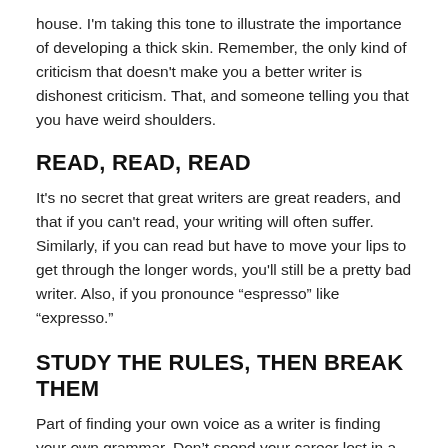house. I'm taking this tone to illustrate the importance of developing a thick skin. Remember, the only kind of criticism that doesn't make you a better writer is dishonest criticism. That, and someone telling you that you have weird shoulders.
READ, READ, READ
It's no secret that great writers are great readers, and that if you can't read, your writing will often suffer. Similarly, if you can read but have to move your lips to get through the longer words, you'll still be a pretty bad writer. Also, if you pronounce “espresso” like “expresso.”
STUDY THE RULES, THEN BREAK THEM
Part of finding your own voice as a writer is finding your own grammar. Don’t spend your career lost in a sea of copycats when you can establish your own set of rules. If